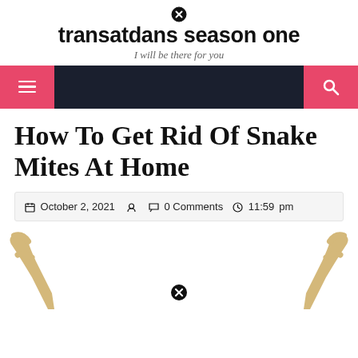transatdans season one — I will be there for you
[Figure (screenshot): Navigation bar with hamburger menu button on left (pink background) and search icon on right (pink background), dark navy center]
How To Get Rid Of Snake Mites At Home
October 2, 2021   0 Comments   11:59 pm
[Figure (photo): Partial image showing deer antlers or horns on a white background, with a close/cancel icon in the center]